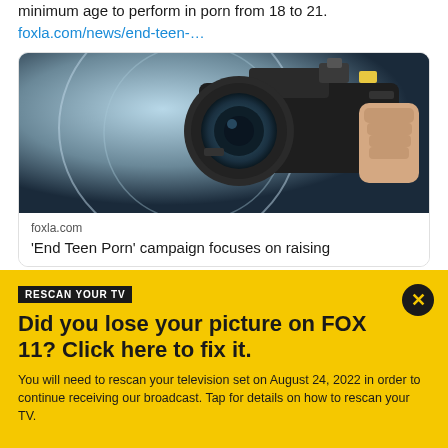minimum age to perform in porn from 18 to 21.
foxla.com/news/end-teen-…
[Figure (photo): Close-up photograph of a professional video camera being held, with blue tinted background]
foxla.com
'End Teen Porn' campaign focuses on raising
RESCAN YOUR TV
Did you lose your picture on FOX 11? Click here to fix it.
You will need to rescan your television set on August 24, 2022 in order to continue receiving our broadcast. Tap for details on how to rescan your TV.